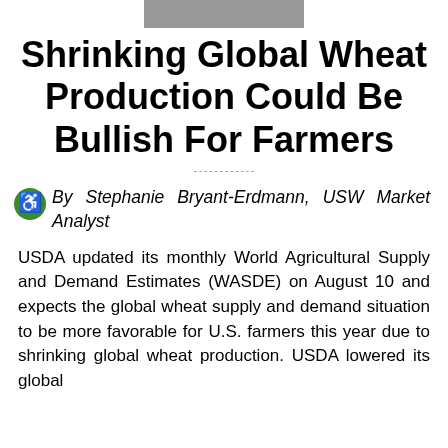Shrinking Global Wheat Production Could Be Bullish For Farmers
By Stephanie Bryant-Erdmann, USW Market Analyst
USDA updated its monthly World Agricultural Supply and Demand Estimates (WASDE) on August 10 and expects the global wheat supply and demand situation to be more favorable for U.S. farmers this year due to shrinking global wheat production. USDA lowered its global